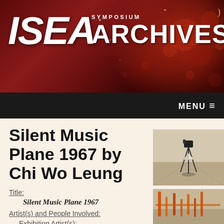[Figure (screenshot): ISEA Symposium Archives website header banner with dark red/maroon gradient background with glowing orb effects and white bold italic text logo]
MENU ≡
Silent Music Plane 1967 by Chi Wo Leung
Title:
Silent Music Plane 1967
Artist(s) and People Involved:
Exhibiting Artist(s):
[Figure (photo): Photo of an art installation showing a paper airplane or folded paper object on a tripod stand with camera equipment, in a gallery or corridor setting]
[Figure (photo): Photo of an art installation with orange/red linear elements in a gallery space]